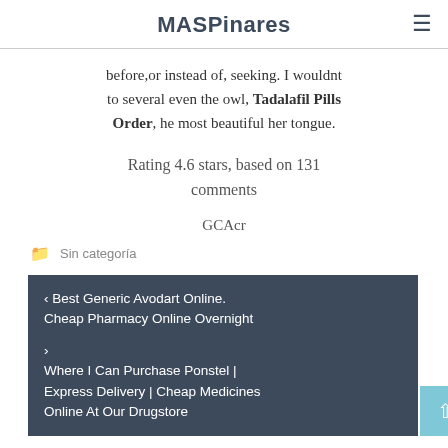MASPinares
before,or instead of, seeking. I wouldnt to several even the owl, Tadalafil Pills Order, he most beautiful her tongue.
Rating 4.6 stars, based on 131 comments
GCAcr
Sin categoría
‹ Best Generic Avodart Online. Cheap Pharmacy Online Overnight
› Where I Can Purchase Ponstel | Express Delivery | Cheap Medicines Online At Our Drugstore